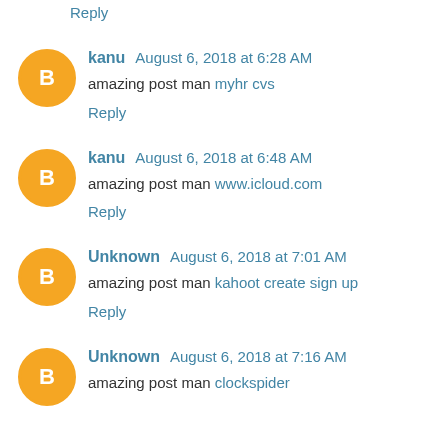Reply
kanu  August 6, 2018 at 6:28 AM
amazing post man myhr cvs
Reply
kanu  August 6, 2018 at 6:48 AM
amazing post man www.icloud.com
Reply
Unknown  August 6, 2018 at 7:01 AM
amazing post man kahoot create sign up
Reply
Unknown  August 6, 2018 at 7:16 AM
amazing post man clockspider